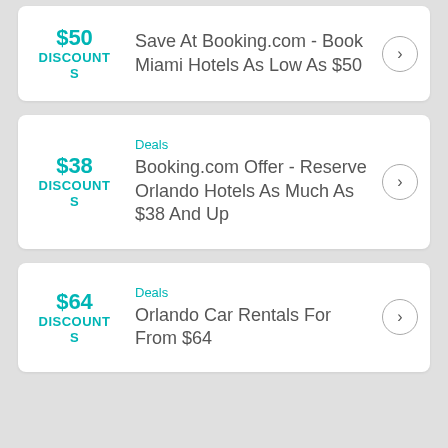$50 DISCOUNTS — Save At Booking.com - Book Miami Hotels As Low As $50
Deals — $38 DISCOUNTS — Booking.com Offer - Reserve Orlando Hotels As Much As $38 And Up
Deals — $64 DISCOUNTS — Orlando Car Rentals For From $64